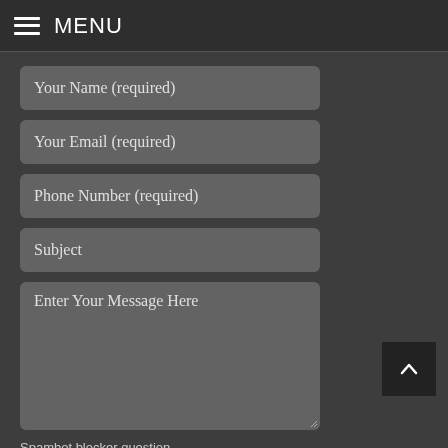MENU
Your Name (required)
Your Email (required)
Phone Number (required)
Subject
Enter Your Message Here
Spambot blocker question
Languages »